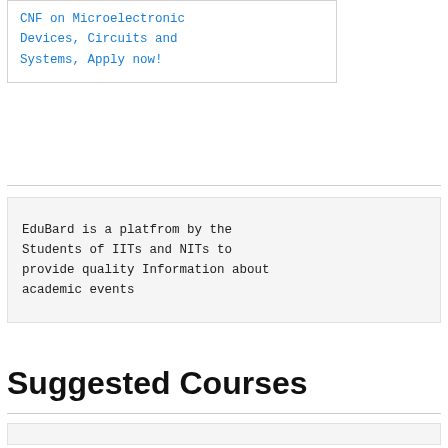CNF on Microelectronic Devices, Circuits and Systems, Apply now!
EduBard is a platfrom by the Students of IITs and NITs to provide quality Information about academic events
Suggested Courses